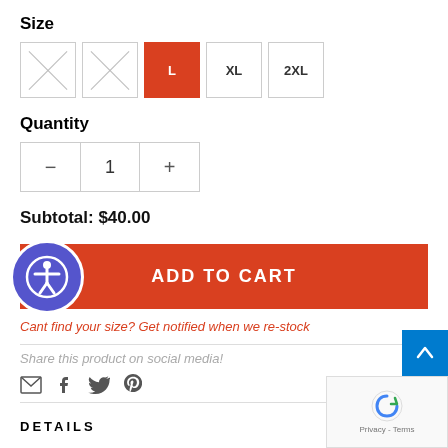Size
Size options: [unavailable], [unavailable], L (selected), XL, 2XL
Quantity
- 1 +
Subtotal: $40.00
ADD TO CART
Cant find your size? Get notified when we re-stock
Share this product on social media!
Email, Facebook, Twitter, Pinterest icons
DETAILS